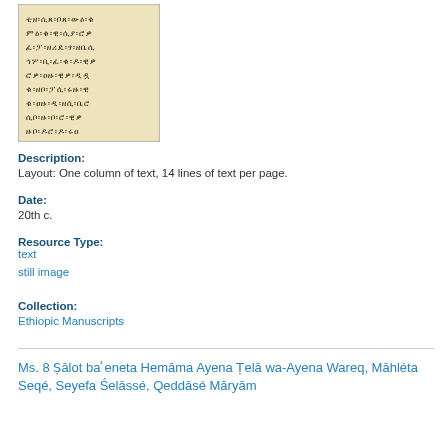[Figure (photo): Photograph of an Ethiopic manuscript page showing text written in Ge'ez script, one column, 14 lines of dense black characters on aged parchment.]
Description:
Layout: One column of text, 14 lines of text per page.
Date:
20th c.
Resource Type:
text
still image
Collection:
Ethiopic Manuscripts
Ms. 8 Ṣālot baʾeneta Hemāma Ayena Ṭelā wa-Ayena Wareq, Māhléta Seqé, Seyefa Śelāssé, Qeddāsé Māryām